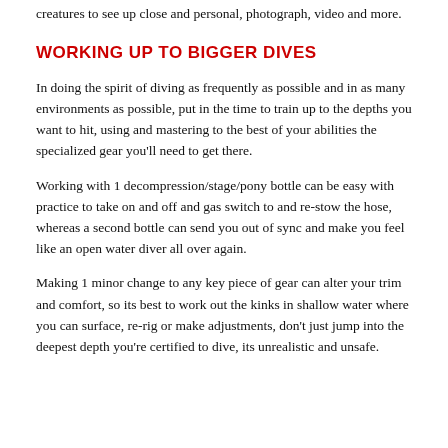creatures to see up close and personal, photograph, video and more.
WORKING UP TO BIGGER DIVES
In doing the spirit of diving as frequently as possible and in as many environments as possible, put in the time to train up to the depths you want to hit, using and mastering to the best of your abilities the specialized gear you'll need to get there.
Working with 1 decompression/stage/pony bottle can be easy with practice to take on and off and gas switch to and re-stow the hose, whereas a second bottle can send you out of sync and make you feel like an open water diver all over again.
Making 1 minor change to any key piece of gear can alter your trim and comfort, so its best to work out the kinks in shallow water where you can surface, re-rig or make adjustments, don't just jump into the deepest depth you're certified to dive, its unrealistic and unsafe.